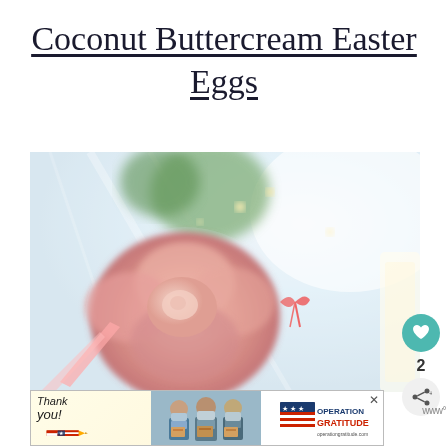Coconut Buttercream Easter Eggs
[Figure (photo): Photo of Easter eggs/flowers arrangement wrapped in cellophane with a pink rose prominently in the foreground and greenery in the background, with a pink bow visible. Social sharing buttons (heart, count '2', share) appear on the right side.]
[Figure (photo): Advertisement banner: 'Thank you!' handwritten text with American flag pencil on left, photo of medical workers wearing masks holding packages in middle, Operation Gratitude logo on right.]